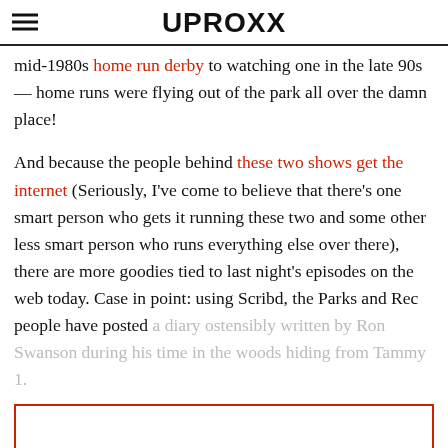UPROXX
mid-1980s home run derby to watching one in the late 90s — home runs were flying out of the park all over the damn place!
And because the people behind these two shows get the internet (Seriously, I've come to believe that there's one smart person who gets it running these two and some other less smart person who runs everything else over there), there are more goodies tied to last night's episodes on the web today. Case in point: using Scribd, the Parks and Rec people have posted a diary ostensibly written by Ron Swanson during his time in the woods hiding from Tammy 1.
[Figure (other): Red-bordered empty box at the bottom of the page]